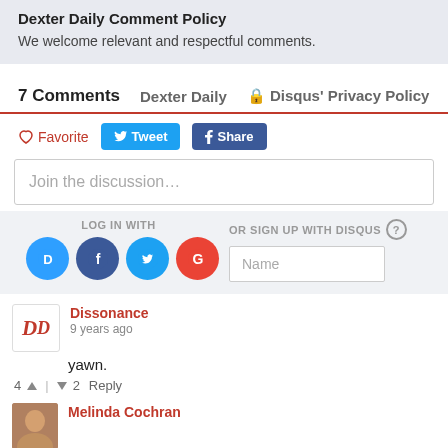Dexter Daily Comment Policy
We welcome relevant and respectful comments.
7 Comments   Dexter Daily   🔒 Disqus' Privacy Policy
♡ Favorite   Tweet   Share
Join the discussion…
LOG IN WITH
OR SIGN UP WITH DISQUS ?
Name
Dissonance
9 years ago
yawn.
4  ∧  |  ∨  2  Reply
Melinda Cochran